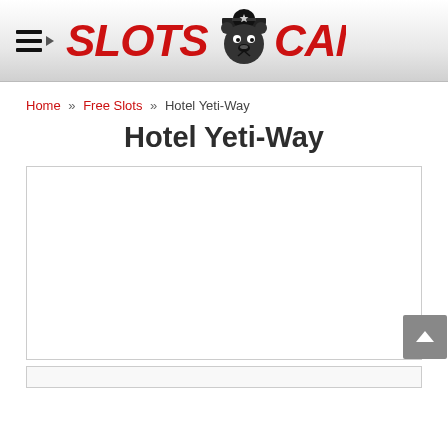SLOTS CANADA
Home » Free Slots » Hotel Yeti-Way
Hotel Yeti-Way
[Figure (screenshot): Empty white content area placeholder box (game embed area)]
[Figure (other): Partially visible bottom section box]